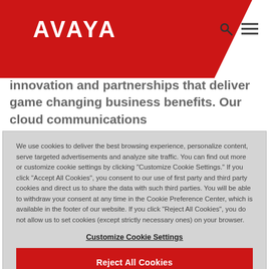[Figure (logo): Avaya logo — white text on red trapezoid background with navigation icons (search, hamburger menu)]
innovation and partnerships that deliver game changing business benefits. Our cloud communications
We use cookies to deliver the best browsing experience, personalize content, serve targeted advertisements and analyze site traffic. You can find out more or customize cookie settings by clicking "Customize Cookie Settings." If you click "Accept All Cookies", you consent to our use of first party and third party cookies and direct us to share the data with such third parties. You will be able to withdraw your consent at any time in the Cookie Preference Center, which is available in the footer of our website. If you click "Reject All Cookies", you do not allow us to set cookies (except strictly necessary ones) on your browser.
Customize Cookie Settings
Reject All Cookies
Accept All Cookies